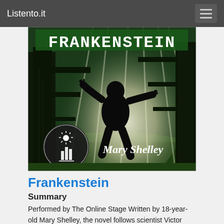Listento.it
[Figure (illustration): Book cover for Frankenstein by Mary Shelley. Dark forest scene with rays of light and a silhouette of Frankenstein's monster in the center. The word FRANKENSTEIN is written in large gothic-style letters at the top. A circular publisher logo is in the lower left. The author name Mary Shelley appears in the lower right in a serif italic font.]
Frankenstein
Summary
Performed by The Online Stage Written by 18-year-old Mary Shelley, the novel follows scientist Victor Frankenstein as he recounts his story to Captain